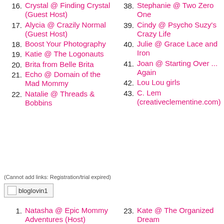16. Crystal @ Finding Crystal (Guest Host)
17. Alycia @ Crazily Normal (Guest Host)
18. Boost Your Photography
19. Katie @ The Logonauts
20. Brita from Belle Brita
21. Echo @ Domain of the Mad Mommy
22. Natalie @ Threads & Bobbins
38. Stephanie @ Two Zero One
39. Cindy @ Psycho Suzy's Crazy Life
40. Julie @ Grace Lace and Iron
41. Joan @ Starting Over ... Again
42. Lou Lou girls
43. C. Lem (creativeclementine.com)
(Cannot add links: Registration/trial expired)
[Figure (other): bloglovin1 image placeholder]
1. Natasha @ Epic Mommy Adventures (Host)
2. Angel @ Sew Crafty Angel (Guest Host)
23. Kate @ The Organized Dream
24. natalie @ Threads & Bobbins